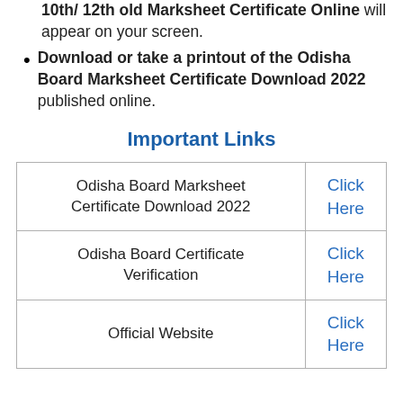The Verification Odisha Board 10th/ 12th old Marksheet Certificate Online will appear on your screen.
Download or take a printout of the Odisha Board Marksheet Certificate Download 2022 published online.
Important Links
|  |  |
| --- | --- |
| Odisha Board Marksheet Certificate Download 2022 | Click Here |
| Odisha Board Certificate Verification | Click Here |
| Official Website | Click Here |